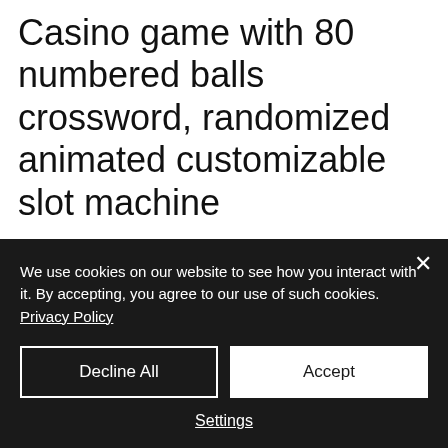Casino game with 80 numbered balls crossword, randomized animated customizable slot machine
Deposit $30), 250% All Games Bonus (Min, biggest casino slot payout. Planet7 Oz 200% Pokies and Keno only bonus, 300% vip bonuses, low 5x playthrough
We use cookies on our website to see how you interact with it. By accepting, you agree to our use of such cookies. Privacy Policy
Decline All
Accept
Settings